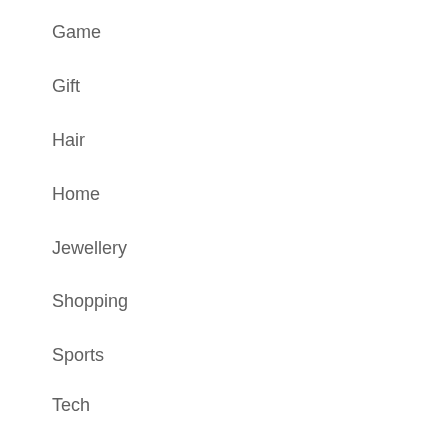Game
Gift
Hair
Home
Jewellery
Shopping
Sports
Tech
Uncategorized